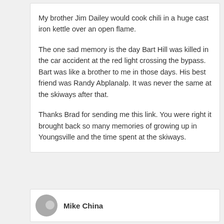My brother Jim Dailey would cook chili in a huge cast iron kettle over an open flame.
The one sad memory is the day Bart Hill was killed in the car accident at the red light crossing the bypass. Bart was like a brother to me in those days. His best friend was Randy Abplanalp. It was never the same at the skiways after that.
Thanks Brad for sending me this link. You were right it brought back so many memories of growing up in Youngsville and the time spent at the skiways.
Mike China